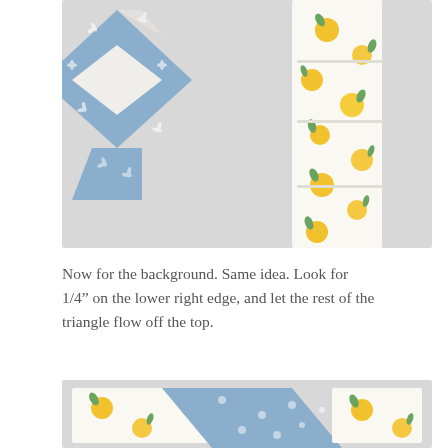[Figure (photo): Quilting photo showing a blue floral fabric piece arranged in a square-in-a-square block pattern on a light grey background, with a strip of white lemon-print fabric folded beside it.]
Now for the background.  Same idea.  Look for 1/4” on the lower right edge, and let the rest of the triangle flow off the top.
[Figure (photo): Quilting photo showing a lemon-print white fabric piece with a blue polka-dot fabric strip placed diagonally across it, on a light grey background.]